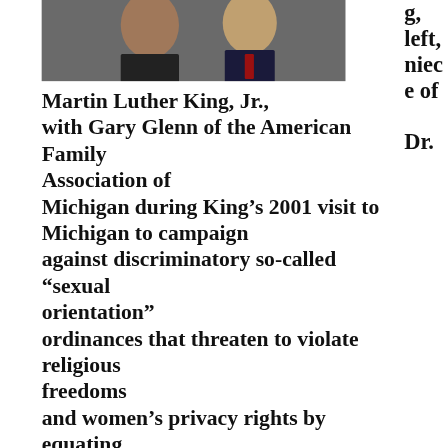[Figure (photo): A woman and a man posing together for a photo. The woman is on the left wearing a dark pinstripe jacket, and the man is on the right wearing a dark suit with a red tie.]
g, left, niece of Dr. Martin Luther King, Jr., with Gary Glenn of the American Family Association of Michigan during King's 2001 visit to Michigan to campaign against discriminatory so-called “sexual orientation” ordinances that threaten to violate religious freedoms and women’s privacy rights by equating homosexual behavior and cross-dressing with